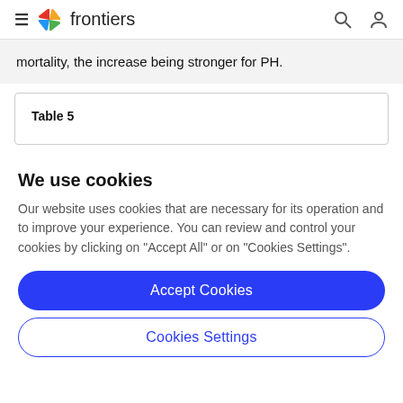frontiers
mortality, the increase being stronger for PH.
Table 5
We use cookies
Our website uses cookies that are necessary for its operation and to improve your experience. You can review and control your cookies by clicking on "Accept All" or on "Cookies Settings".
Accept Cookies
Cookies Settings